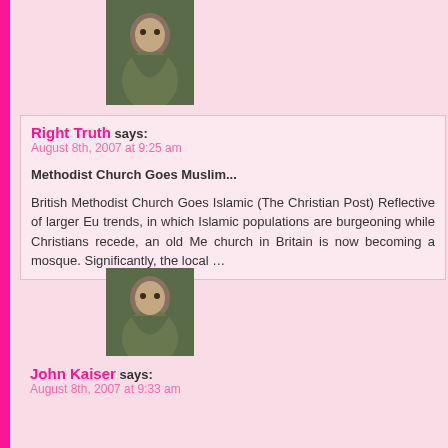[Figure (photo): Avatar image of a seated figure, partially visible at top]
Right Truth says:
August 8th, 2007 at 9:25 am

Methodist Church Goes Muslim...

British Methodist Church Goes Islamic (The Christian Post) Reflective of larger Eu trends, in which Islamic populations are burgeoning while Christians recede, an old Me church in Britain is now becoming a mosque. Significantly, the local …
[Figure (photo): Avatar image of a seated figure]
John Kaiser says:
August 8th, 2007 at 9:33 am